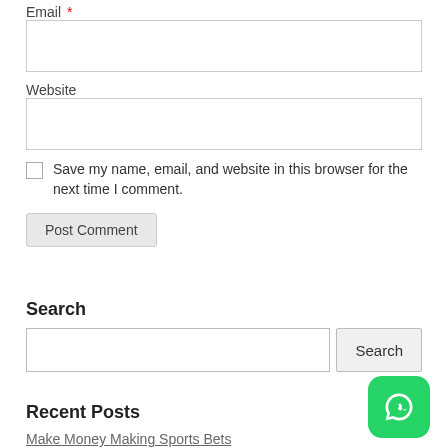Email *
Website
Save my name, email, and website in this browser for the next time I comment.
Post Comment
Search
Search
Recent Posts
Make Money Making Sports Bets
Online Vs Land Based Casinos